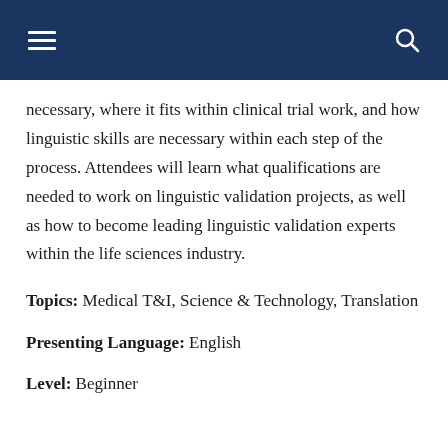necessary, where it fits within clinical trial work, and how linguistic skills are necessary within each step of the process. Attendees will learn what qualifications are needed to work on linguistic validation projects, as well as how to become leading linguistic validation experts within the life sciences industry.
Topics: Medical T&I, Science & Technology, Translation
Presenting Language: English
Level: Beginner